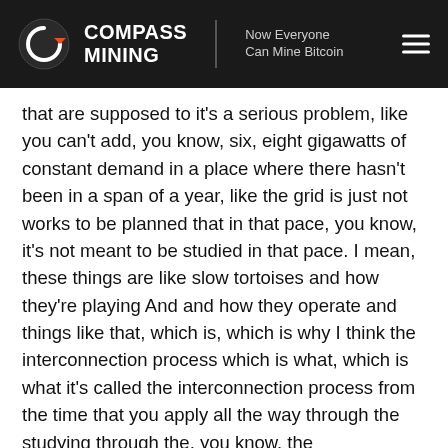COMPASS MINING | Now Everyone Can Mine Bitcoin
that are supposed to it's a serious problem, like you can't add, you know, six, eight gigawatts of constant demand in a place where there hasn't been in a span of a year, like the grid is just not works to be planned that in that pace, you know, it's not meant to be studied in that pace. I mean, these things are like slow tortoises and how they're playing And and how they operate and things like that, which is, which is why I think the interconnection process which is what, which is what it's called the interconnection process from the time that you apply all the way through the studying through the, you know, the securitization, through the transmission system operator, like negotiations contract all the way to actually coming online, that process is probably going to just gonna be elongated,